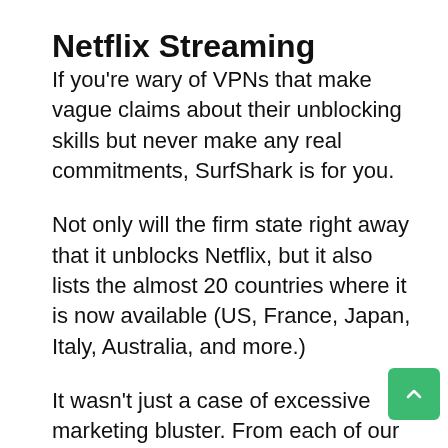Netflix Streaming
If you're wary of VPNs that make vague claims about their unblocking skills but never make any real commitments, SurfShark is for you.
Not only will the firm state right away that it unblocks Netflix, but it also lists the almost 20 countries where it is now available (US, France, Japan, Italy, Australia, and more.)
It wasn't just a case of excessive marketing bluster. From each of our 3 test sites, we were able to view US